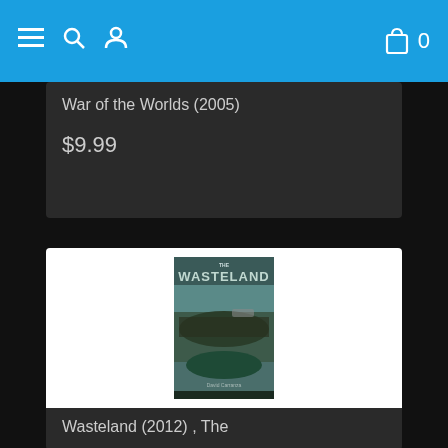Navigation bar with menu, search, profile icons and cart (0)
War of the Worlds (2005)
$9.99
[Figure (photo): DVD cover of The Wasteland (2012) - a movie poster showing a post-apocalyptic scene with figures on a desolate landscape, directed by David Carranza]
Wasteland (2012) , The